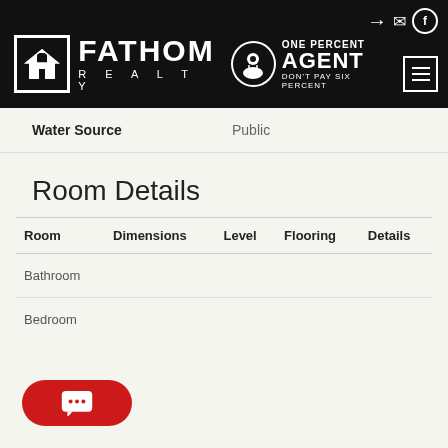[Figure (logo): Fathom Realty logo with house icon and 'One Percent Agent - Don't Pay Six Percent' badge on black header bar]
| Water Source | Public |
| --- | --- |
Room Details
| Room | Dimensions | Level | Flooring | Details |
| --- | --- | --- | --- | --- |
| Bathroom |  |  |  |  |
| Bedroom |  |  |  |  |